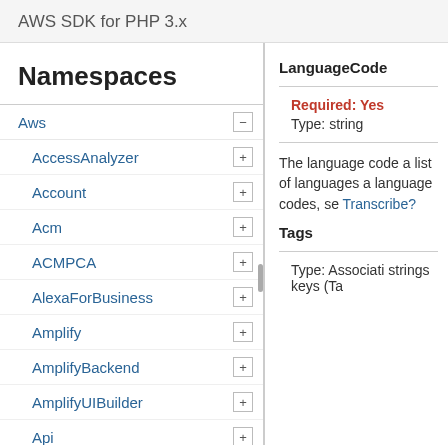AWS SDK for PHP 3.x
Namespaces
Aws
AccessAnalyzer
Account
Acm
ACMPCA
AlexaForBusiness
Amplify
AmplifyBackend
AmplifyUIBuilder
Api
ApiGateway
ApiGatewayManagementApi
LanguageCode
Required: Yes
Type: string
The language code a list of languages a language codes, se Transcribe?
Tags
Type: Associati strings keys (Ta